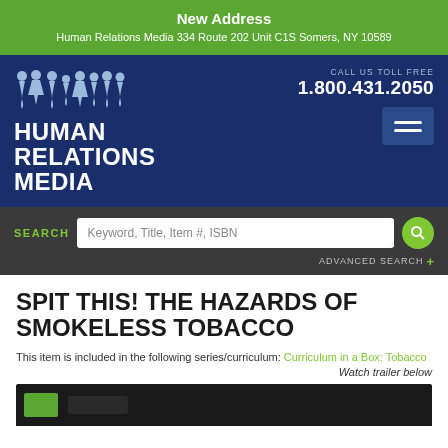New Address
Human Relations Media 334 Route 202 Unit C1S Somers, NY 10589
[Figure (logo): Human Relations Media logo with silhouette figures and blue branding. CALL US TOLL FREE 1.800.431.2050 with hamburger menu button.]
SEARCH  Keyword, Title, Item #, ISBN  ADVANCED SEARCH +
SPIT THIS! THE HAZARDS OF SMOKELESS TOBACCO
This item is included in the following series/curriculum: Curriculum in a Box: Tobacco
Watch trailer below
[Figure (screenshot): Video thumbnail strip at the bottom, dark background with green patch visible]